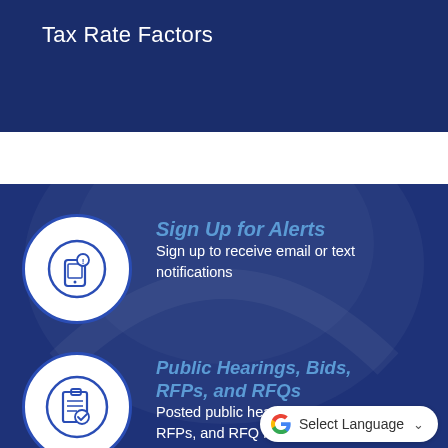Tax Rate Factors
[Figure (illustration): Circle icon with a mobile phone and alert/notification symbol, outlined in blue on white background]
Sign Up for Alerts
Sign up to receive email or text notifications
[Figure (illustration): Circle icon with a clipboard and checkmark, outlined in blue on white background]
Public Hearings, Bids, RFPs, and RFQs
Posted public hearings, Bids, RFPs, and RFQ listings
Select Language